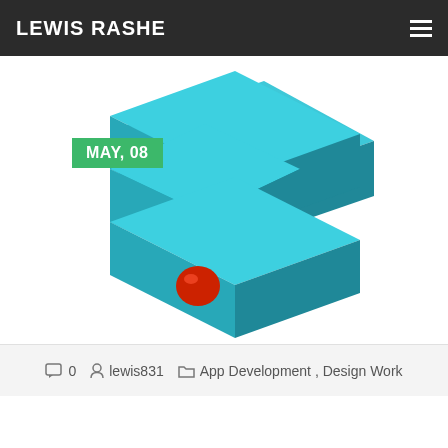LEWIS RASHE
[Figure (illustration): 3D isometric teal/turquoise zigzag or Z-shaped block structure with a red sphere/dot on the lower section. The shape resembles a stylized letter Z or lightning bolt in isometric 3D perspective with teal coloring and darker shading on sides.]
MAY, 08
0   lewis831   App Development , Design Work